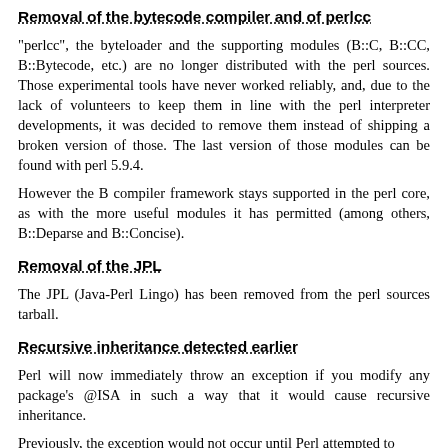Removal of the bytecode compiler and of perlcc
"perlcc", the byteloader and the supporting modules (B::C, B::CC, B::Bytecode, etc.) are no longer distributed with the perl sources. Those experimental tools have never worked reliably, and, due to the lack of volunteers to keep them in line with the perl interpreter developments, it was decided to remove them instead of shipping a broken version of those. The last version of those modules can be found with perl 5.9.4.
However the B compiler framework stays supported in the perl core, as with the more useful modules it has permitted (among others, B::Deparse and B::Concise).
Removal of the JPL
The JPL (Java-Perl Lingo) has been removed from the perl sources tarball.
Recursive inheritance detected earlier
Perl will now immediately throw an exception if you modify any package's @ISA in such a way that it would cause recursive inheritance.
Previously, the exception would not occur until Perl attempted to